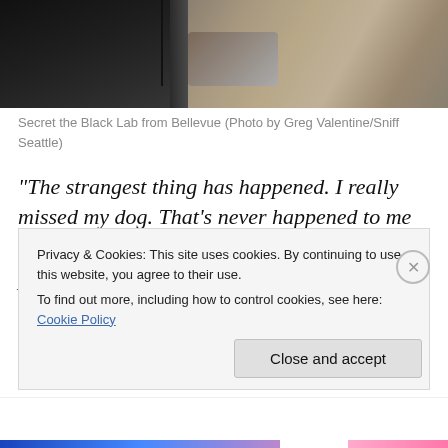[Figure (photo): Black Labrador dog wearing a harness, photographed outdoors against a rocky stone wall background. Upper portion of dog and rocks visible.]
Secret the Black Lab from Bellevue (Photo by Greg Valentine/Sniff Seattle)
“The strangest thing has happened. I really missed my dog. That’s never happened to me before. You know, on a long tour you do hear people saying they miss their pets. I never have. But last night I started really missing my dog.
Privacy & Cookies: This site uses cookies. By continuing to use this website, you agree to their use.
To find out more, including how to control cookies, see here: Cookie Policy
Close and accept